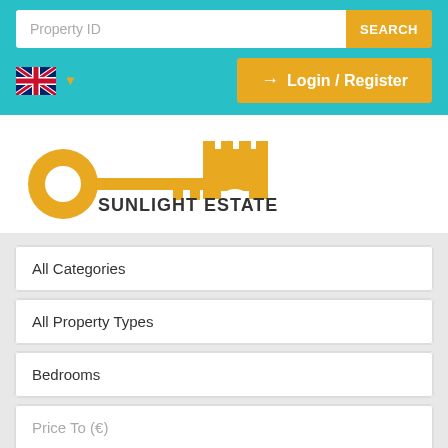[Figure (screenshot): Top teal navigation bar with Property ID search input, SEARCH button, UK flag language selector, and Login/Register button]
[Figure (logo): Sunlight Estate logo: golden key with castle/tower shape and text SUNLIGHT ESTATE]
All Categories
All Property Types
Bedrooms
Price To (€)
SEARCH